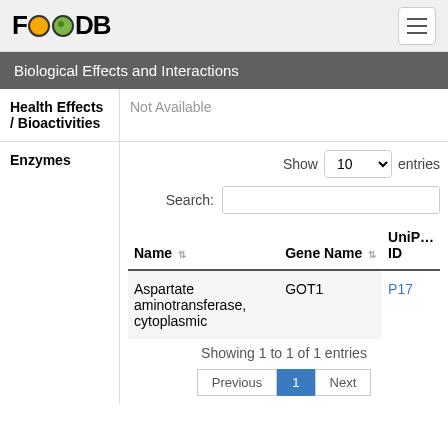FOODB
Biological Effects and Interactions
| Health Effects / Bioactivities |  |
| --- | --- |
| Not Available |  |
| Name | Gene Name | UniProt ID |
| --- | --- | --- |
| Aspartate aminotransferase, cytoplasmic | GOT1 | P17 |
Showing 1 to 1 of 1 entries